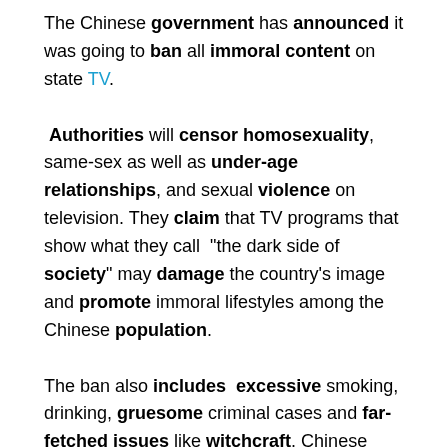The Chinese government has announced it was going to ban all immoral content on state TV. Authorities will censor homosexuality, same-sex as well as under-age relationships, and sexual violence on television. They claim that TV programs that show what they call "the dark side of society" may damage the country's image and promote immoral lifestyles among the Chinese population.

The ban also includes excessive smoking, drinking, gruesome criminal cases and far-fetched issues like witchcraft. Chinese media authorities have stated that they would watch TV channels carefully to see that the new laws are enforced.

In the past China's censors have already shut down shows that are seen as immoral. A TV show called "The Empress of China" was stopped because of too much skin shown between a